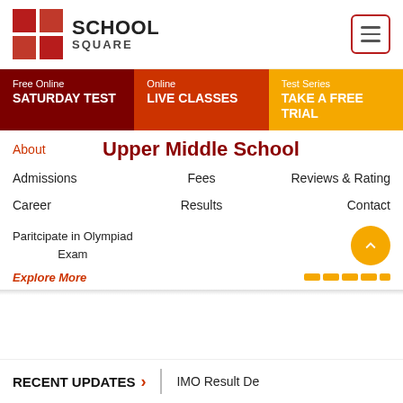[Figure (logo): School Square logo with red grid squares and text SCHOOL SQUARE]
Upper Middle School
Free Online SATURDAY TEST
Online LIVE CLASSES
Test Series TAKE A FREE TRIAL
About
Admissions
Fees
Reviews & Rating
Career
Results
Contact
Paritcipate in Olympiad Exam
Explore More
RECENT UPDATES
IMO Result De